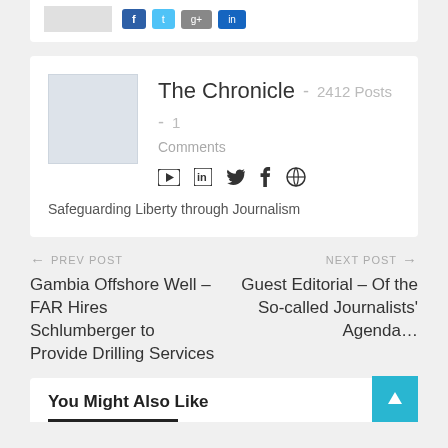[Figure (screenshot): Top partial social sharing card with buttons: Facebook, Twitter, Google+, LinkedIn]
[Figure (screenshot): Author card for The Chronicle: avatar placeholder, 2412 Posts, 1 Comments, social icons (YouTube, LinkedIn, Twitter, Facebook, Globe), tagline: Safeguarding Liberty through Journalism]
The Chronicle - 2412 Posts - 1 Comments
Safeguarding Liberty through Journalism
← PREV POST
Gambia Offshore Well – FAR Hires Schlumberger to Provide Drilling Services
NEXT POST →
Guest Editorial – Of the So-called Journalists' Agenda…
You Might Also Like